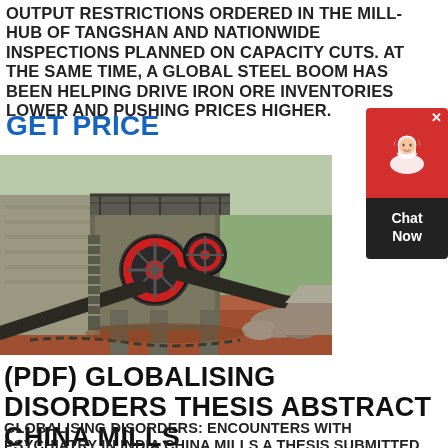OUTPUT RESTRICTIONS ORDERED IN THE MILL-HUB OF TANGSHAN AND NATIONWIDE INSPECTIONS PLANNED ON CAPACITY CUTS. AT THE SAME TIME, A GLOBAL STEEL BOOM HAS BEEN HELPING DRIVE IRON ORE INVENTORIES LOWER AND PUSHING PRICES HIGHER.
GET PRICE
[Figure (photo): Photograph of a large industrial ore processing mill or crusher at a mining site, with machinery, conveyors, and red dirt ground.]
[Figure (other): Chat Now widget: red top with headset icon and X button, dark bottom with 'Chat Now' text.]
(PDF) GLOBALISING DISORDERS THESIS ABSTRACT CHINA MILLS
GLOBALISING DISORDERS: ENCOUNTERS WITH PSYCHIATRY IN INDIA CHINA MILLS A THESIS SUBMITTED